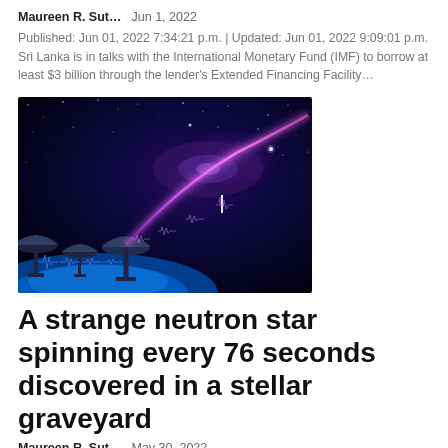Maureen R. Sut…    Jun 1, 2022
Published: Jun 01, 2022 7:34:21 p.m. | Updated: Jun 01, 2022 9:09:01 p.m. Sri Lanka is in talks with the International Monetary Fund (IMF) to borrow at least $3 billion through the lender's Extended Financing Facility...
[Figure (illustration): Artistic space scene showing radio telescopes on Earth surface with a bright purple/magenta signal beam shooting across a starfield with galaxy in the background, illustrating a fast radio burst or neutron star signal.]
A strange neutron star spinning every 76 seconds discovered in a stellar graveyard
Maureen R. Sut…    May 30, 2022